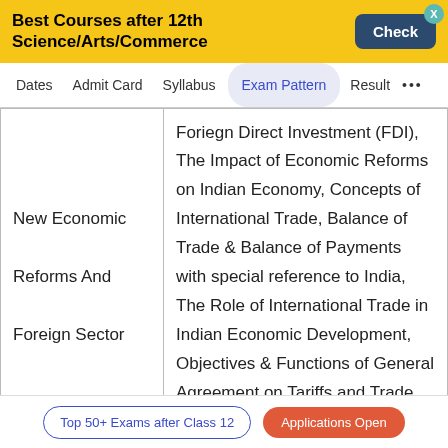Best Courses after 12th Science/Arts/Commerce
Dates | Admit Card | Syllabus | Exam Pattern | Result ...
| Topic | Subtopics |
| --- | --- |
| New Economic Reforms And Foreign Sector | Foriegn Direct Investment (FDI), The Impact of Economic Reforms on Indian Economy, Concepts of International Trade, Balance of Trade & Balance of Payments with special reference to India, The Role of International Trade in Indian Economic Development, Objectives & Functions of General Agreement on Tariffs and Trade (GATT) and... |
Top 50+ Exams after Class 12 | Applications Open